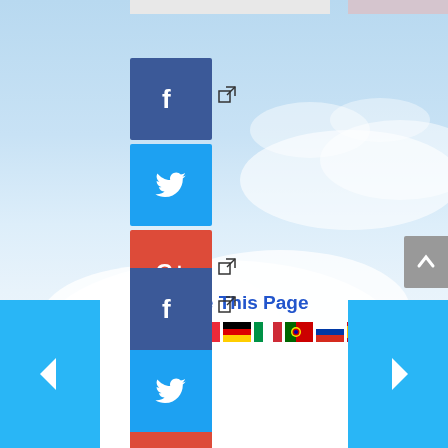[Figure (screenshot): Social media sharing buttons (Facebook, Twitter, Google+, Print, Email) stacked vertically on a cloudy sky background]
Translate This Page
[Figure (infographic): Row of country flag icons for translation: UK, China, France, Germany, Italy, Portugal, Russia, Spain, Vietnam]
[Figure (screenshot): Bottom social sharing buttons (Facebook, Twitter) with navigation arrows on left and right]